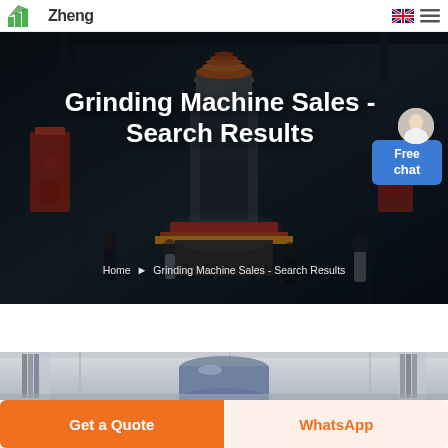Zheng (logo) — header navigation with language flag and menu icon
[Figure (photo): Hero banner showing a large industrial grinding machine in a dark factory setting with decorative figures in formal wear posing around it. Overlaid bold white text reads 'Grinding Machine Sales - Search Results' with a breadcrumb navigation below.]
Grinding Machine Sales - Search Results
Home ❯ Grinding Machine Sales - Search Results
[Figure (photo): Product image showing an industrial grinding/mixing machine in a factory environment with Chinese text banners on columns at left and right sides.]
Get a Quote
WhatsApp